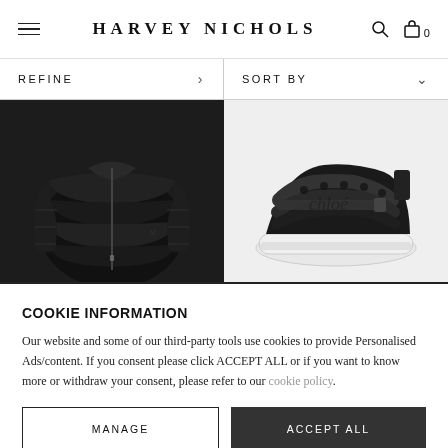HARVEY NICHOLS
REFINE
SORT BY
[Figure (photo): Black quilted puffer jacket shown from the front, displayed on a dark background]
[Figure (photo): Black lace sneaker with velcro strap and white sole, displayed on a light grey background]
COOKIE INFORMATION
Our website and some of our third-party tools use cookies to provide Personalised Ads/content. If you consent please click ACCEPT ALL or if you want to know more or withdraw your consent, please refer to our cookie policy.
MANAGE
ACCEPT ALL